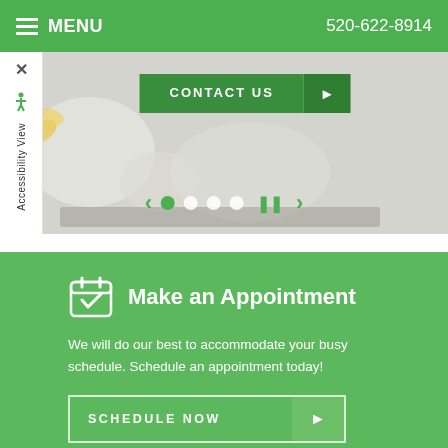MENU  520-622-8914
[Figure (screenshot): Website screenshot showing a medical/dental office webpage with a header navigation bar in green with MENU and phone number 520-622-8914, a hero image slider with a CONTACT US button and navigation dots, an accessibility sidebar, and a green Make an Appointment section with SCHEDULE NOW button.]
Make an Appointment
We will do our best to accommodate your busy schedule. Schedule an appointment today!